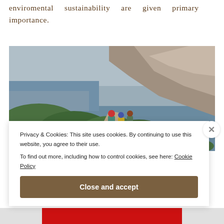enviromental sustainability are given primary importance.
[Figure (photo): People on horseback riding along a coastal cliff path with green vegetation and rocky hillside. The sea is visible in the background under an overcast sky.]
Privacy & Cookies: This site uses cookies. By continuing to use this website, you agree to their use.
To find out more, including how to control cookies, see here: Cookie Policy
Close and accept